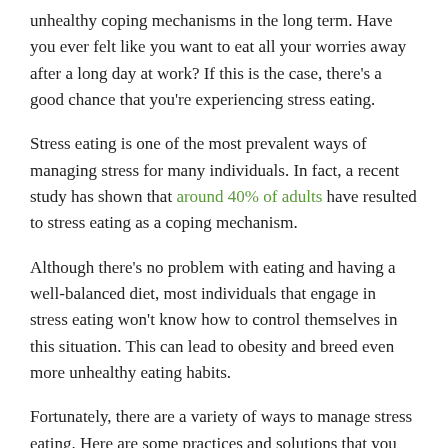unhealthy coping mechanisms in the long term. Have you ever felt like you want to eat all your worries away after a long day at work? If this is the case, there's a good chance that you're experiencing stress eating.
Stress eating is one of the most prevalent ways of managing stress for many individuals. In fact, a recent study has shown that around 40% of adults have resulted to stress eating as a coping mechanism.
Although there's no problem with eating and having a well-balanced diet, most individuals that engage in stress eating won't know how to control themselves in this situation. This can lead to obesity and breed even more unhealthy eating habits.
Fortunately, there are a variety of ways to manage stress eating. Here are some practices and solutions that you can